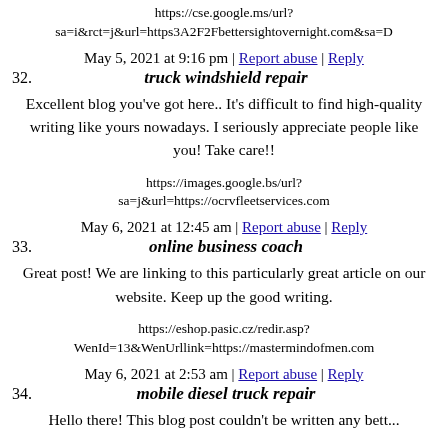https://cse.google.ms/url?sa=i&rct=j&url=https3A2F2Fbettersightovernight.com&sa=D
May 5, 2021 at 9:16 pm | Report abuse | Reply
32. truck windshield repair
Excellent blog you've got here.. It’s difficult to find high-quality writing like yours nowadays. I seriously appreciate people like you! Take care!!
https://images.google.bs/url?sa=j&url=https://ocrvfleetservices.com
May 6, 2021 at 12:45 am | Report abuse | Reply
33. online business coach
Great post! We are linking to this particularly great article on our website. Keep up the good writing.
https://eshop.pasic.cz/redir.asp?WenId=13&WenUrllink=https://mastermindofmen.com
May 6, 2021 at 2:53 am | Report abuse | Reply
34. mobile diesel truck repair
Hello there! This blog post couldn’t be written any better...